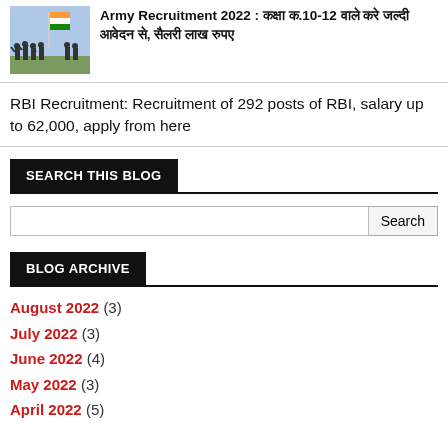[Figure (photo): Army soldiers silhouette with Indian flag]
Army Recruitment 2022 : कक्षा 10-12 वाले करे जल्दी आवेदन, सैलरी लाख रुपए
RBI Recruitment: Recruitment of 292 posts of RBI, salary up to 62,000, apply from here
SEARCH THIS BLOG
Search
BLOG ARCHIVE
August 2022 (3)
July 2022 (3)
June 2022 (4)
May 2022 (3)
April 2022 (5)